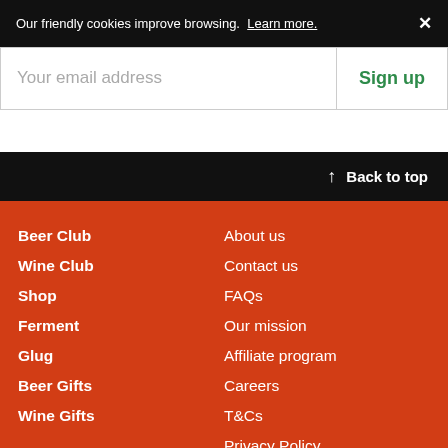Our friendly cookies improve browsing. Learn more. ✕
Your email address
Sign up
↑ Back to top
Beer Club
Wine Club
Shop
Ferment
Glug
Beer Gifts
Wine Gifts
About us
Contact us
FAQs
Our mission
Affiliate program
Careers
T&Cs
Privacy Policy